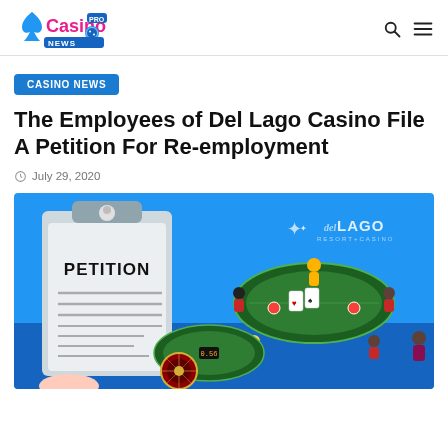Casino News - logo and navigation
CASINO NEWS
The Employees of Del Lago Casino File A Petition For Re-employment
July 29, 2020
[Figure (illustration): Illustration showing a clipboard with 'PETITION' document and casino scene with del Lago Resort+Casino logo, people playing at green casino tables, roulette wheel, on a blue background]